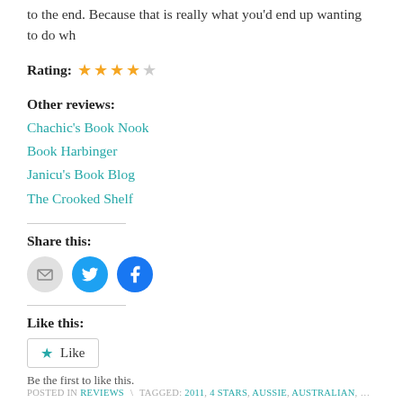to the end. Because that is really what you'd end up wanting to do wh
Rating: ★★★★☆
Other reviews:
Chachic's Book Nook
Book Harbinger
Janicu's Book Blog
The Crooked Shelf
Share this:
[Figure (infographic): Three social sharing icons: email (grey circle), Twitter (blue circle with bird icon), Facebook (blue circle with f icon)]
Like this:
Like  Be the first to like this.
POSTED IN REVIEWS \ TAGGED: 2011, 4 STARS, AUSSIE, AUSTRALIAN, BORROWED, CIN